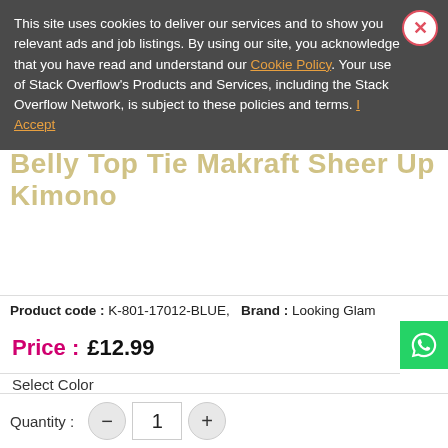This site uses cookies to deliver our services and to show you relevant ads and job listings. By using our site, you acknowledge that you have read and understand our Cookie Policy. Your use of Stack Overflow's Products and Services, including the Stack Overflow Network, is subject to these policies and terms. I Accept
Product code : K-801-17012-BLUE,   Brand : Looking Glam
Price :  £12.99
Select Color
Select Color
Select Size
Select Size
Quantity :  1